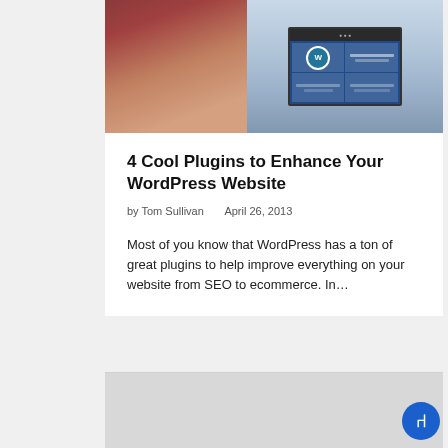[Figure (photo): Person working on a laptop showing WordPress website interface on screen, with blue notebook and accessories on desk]
4 Cool Plugins to Enhance Your WordPress Website
by Tom Sullivan    April 26, 2013
Most of you know that WordPress has a ton of great plugins to help improve everything on your website from SEO to ecommerce. In…
[Figure (photo): Partial view of next article card with gray background]